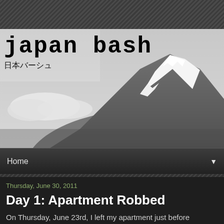[Figure (photo): Black and white blog header banner showing Mount Fuji snow-capped peak with clouds, with blog title 'japan bash' and Japanese subtitle '日本バーシュ' overlaid in the upper left]
Home ▼
Thursday, June 30, 2011
Day 1: Apartment Robbed
On Thursday, June 23rd, I left my apartment just before